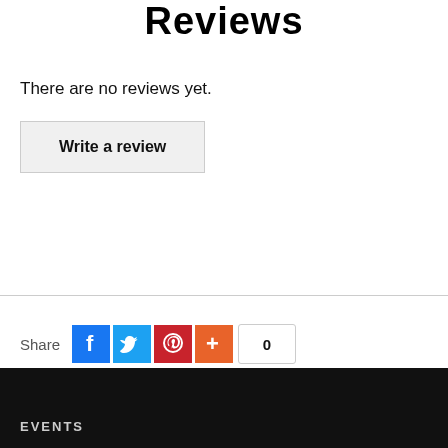Reviews
There are no reviews yet.
Write a review
Share  0
See our 1,807 reviews on Trustpilot
Page updated 15th May 2018, 09:59
EVENTS